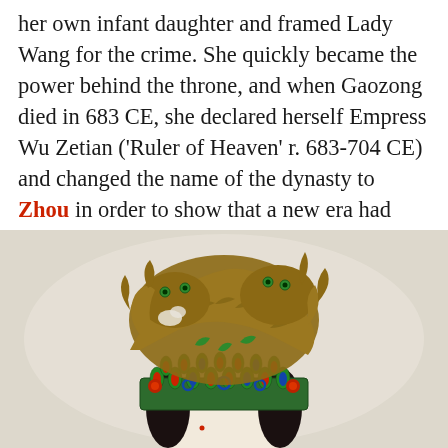her own infant daughter and framed Lady Wang for the crime. She quickly became the power behind the throne, and when Gaozong died in 683 CE, she declared herself Empress Wu Zetian ('Ruler of Heaven' r. 683-704 CE) and changed the name of the dynasty to Zhou in order to show that a new era had begun.
[Figure (illustration): A traditional Chinese painting depicting the head and elaborate headdress of a female figure (likely Wu Zetian or an empress). The headdress features golden dragon and phoenix decorations at the top, with ornate blue, green, red, and white peacock feather motifs arranged around the lower portion. The figure's face is partially visible at the bottom of the image with fair complexion.]